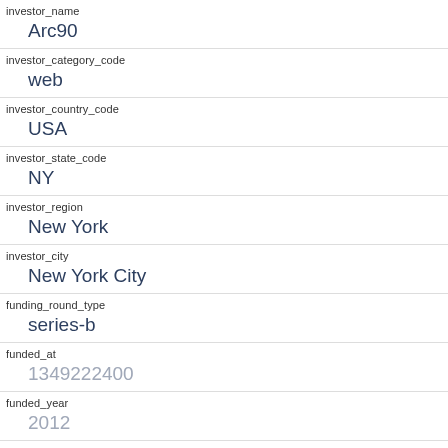| investor_name | Arc90 |
| investor_category_code | web |
| investor_country_code | USA |
| investor_state_code | NY |
| investor_region | New York |
| investor_city | New York City |
| funding_round_type | series-b |
| funded_at | 1349222400 |
| funded_year | 2012 |
| raised_amount_usd | 2300000 |
| gristHelper_Display2 |  |